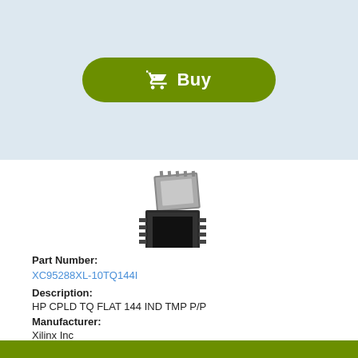[Figure (other): Green Buy button with shopping cart icon on light blue background]
[Figure (photo): IC chip / CPLD component shown from above and at angle, dark grey square package]
Part Number:
XC95288XL-10TQ144I
Description:
HP CPLD TQ FLAT 144 IND TMP P/P
Manufacturer:
Xilinx Inc
Datasheet:
XC95288XL-10TQG144C.pdf  (14 pages)